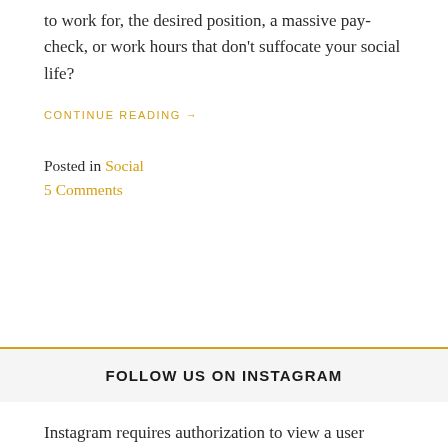to work for, the desired position, a massive pay-check, or work hours that don't suffocate your social life?
CONTINUE READING →
Posted in Social
5 Comments
FOLLOW US ON INSTAGRAM
Instagram requires authorization to view a user profile. Use authorized account in widget settings